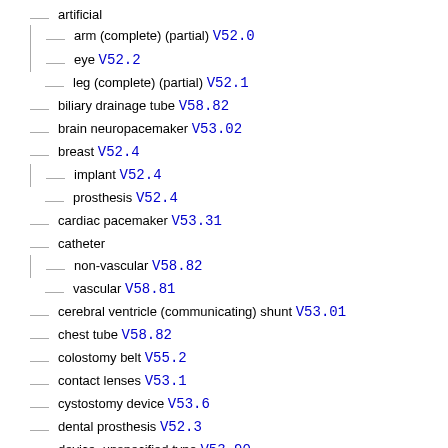artificial
arm (complete) (partial) V52.0
eye V52.2
leg (complete) (partial) V52.1
biliary drainage tube V58.82
brain neuropacemaker V53.02
breast V52.4
implant V52.4
prosthesis V52.4
cardiac pacemaker V53.31
catheter
non-vascular V58.82
vascular V58.81
cerebral ventricle (communicating) shunt V53.01
chest tube V58.82
colostomy belt V55.2
contact lenses V53.1
cystostomy device V53.6
dental prosthesis V52.3
device, unspecified type V53.90
abdominal V53.59
cerebral ventricle (communicating) shunt V53.01
gastrointestinal NEC V53.59